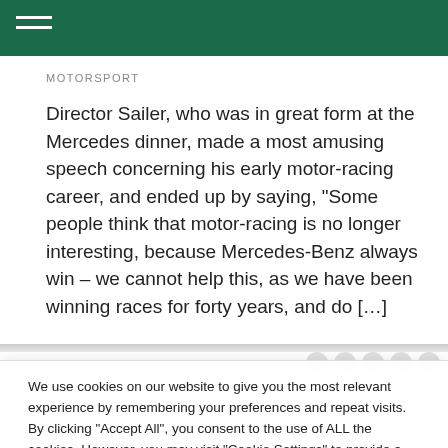MOTORSPORT
Director Sailer, who was in great form at the Mercedes dinner, made a most amusing speech concerning his early motor-racing career, and ended up by saying, “Some people think that motor-racing is no longer interesting, because Mercedes-Benz always win – we cannot help this, as we have been winning races for forty years, and do […]
We use cookies on our website to give you the most relevant experience by remembering your preferences and repeat visits. By clicking “Accept All”, you consent to the use of ALL the cookies. However, you may visit "Cookie Settings" to provide a controlled consent.